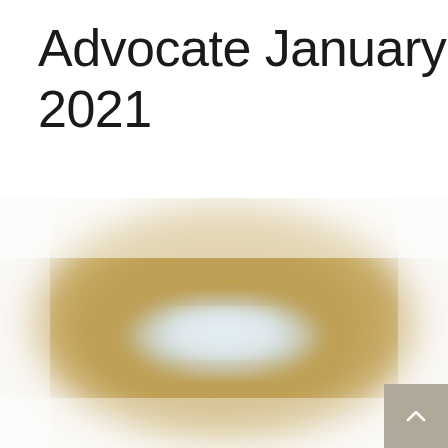Advocate January 2021
[Figure (photo): A blurred/soft-focus image showing a golden-tan background (resembling a paper envelope or cardboard surface) with a white-light blue blurred rectangular shape in the center, possibly a blurred photograph of a face mask or similar object on a golden background.]